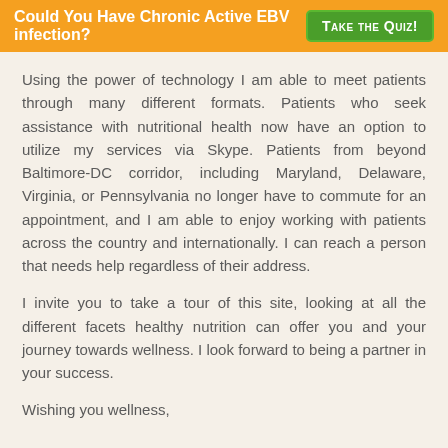Could You Have Chronic Active EBV infection? | TAKE THE QUIZ!
Using the power of technology I am able to meet patients through many different formats. Patients who seek assistance with nutritional health now have an option to utilize my services via Skype. Patients from beyond Baltimore-DC corridor, including Maryland, Delaware, Virginia, or Pennsylvania no longer have to commute for an appointment, and I am able to enjoy working with patients across the country and internationally. I can reach a person that needs help regardless of their address.
I invite you to take a tour of this site, looking at all the different facets healthy nutrition can offer you and your journey towards wellness. I look forward to being a partner in your success.
Wishing you wellness,